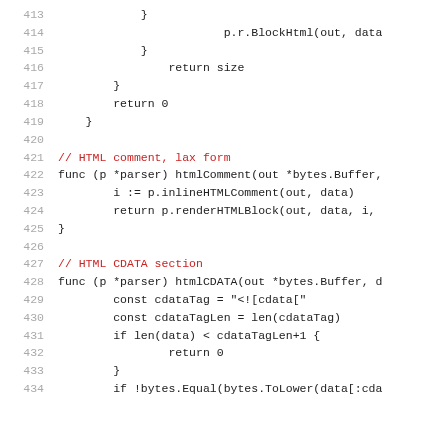Code listing lines 413-434, Go source code with HTML parser functions
413    }
414        p.r.BlockHtml(out, data
415    }
416        return size
417    }
418        return 0
419    }
420
421    // HTML comment, lax form
422    func (p *parser) htmlComment(out *bytes.Buffer,
423        i := p.inlineHTMLComment(out, data)
424        return p.renderHTMLBlock(out, data, i,
425    }
426
427    // HTML CDATA section
428    func (p *parser) htmlCDATA(out *bytes.Buffer, d
429        const cdataTag = "<![cdata["
430        const cdataTagLen = len(cdataTag)
431        if len(data) < cdataTagLen+1 {
432            return 0
433        }
434        if !bytes.Equal(bytes.ToLower(data[:cda